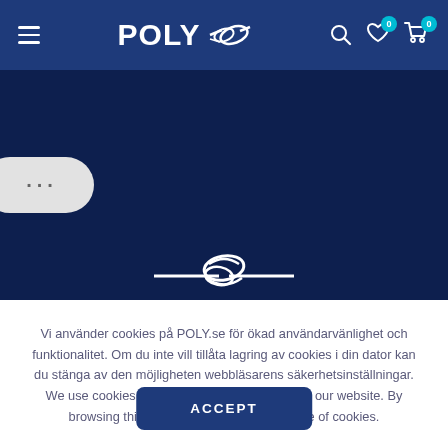POLY navigation bar with hamburger menu, logo, search, wishlist and cart icons
[Figure (screenshot): Dark navy hero banner section with a white rounded pill button with ellipsis (…) on the left, and a white POLY knotted rope logo icon at the bottom center]
Vi använder cookies på POLY.se för ökad användarvänlighet och funktionalitet. Om du inte vill tillåta lagring av cookies i din dator kan du stänga av den möjligheten webbläsarens säkerhetsinställningar. We use cookies to improve your experience on our website. By browsing this website, you agree to our use of cookies.
ACCEPT